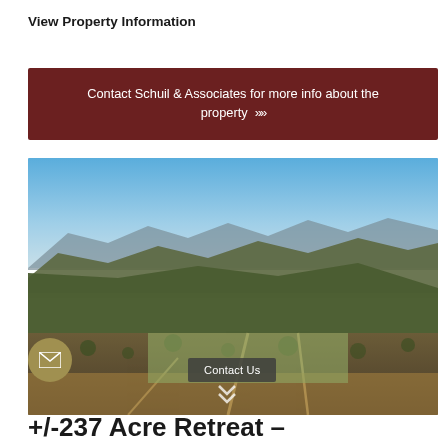View Property Information
Contact Schuil & Associates for more info about the property »»
[Figure (photo): Aerial landscape photo showing rolling forested hills, a wide valley, mountains in the background, and a rural property with dirt roads and cleared fields under a blue sky.]
Contact Us
+/-237 Acre Retreat –